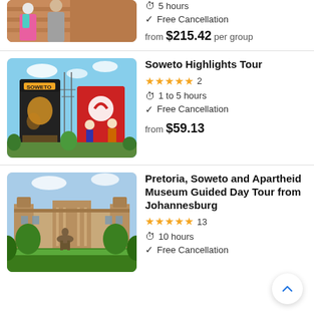[Figure (photo): Partial image of a tour guide and person, cropped at top]
5 hours
Free Cancellation
from $215.42 per group
[Figure (photo): Soweto cooling towers painted with murals including Vodacom logo]
Soweto Highlights Tour
★★★★★ 2
1 to 5 hours
Free Cancellation
from $59.13
[Figure (photo): Union Buildings in Pretoria with statue in foreground and gardens]
Pretoria, Soweto and Apartheid Museum Guided Day Tour from Johannesburg
★★★★★ 13
10 hours
Free Cancellation